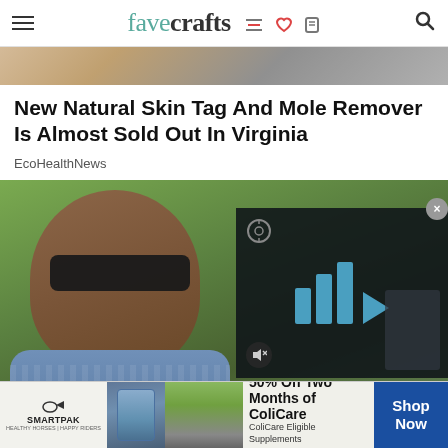favecrafts
[Figure (photo): Partial hero image strip at top of page]
New Natural Skin Tag And Mole Remover Is Almost Sold Out In Virginia
EcoHealthNews
[Figure (photo): Photo of a man wearing sunglasses outdoors with green background, overlaid with a video player UI showing blue bars and play button, mute icon at bottom left]
[Figure (photo): Advertisement banner: SmartPak logo with horse and rider image, product image, text '50% Off Two Months of ColiCare, ColiCare Eligible Supplements CODE: COLICARE10', blue Shop Now button]